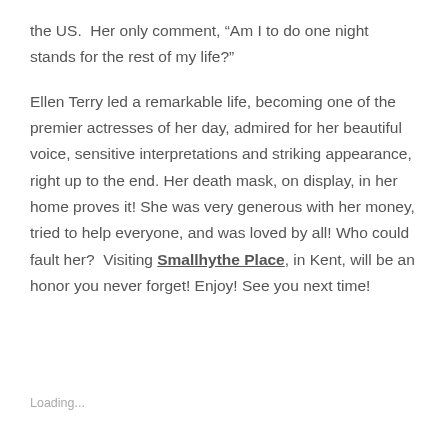the US.  Her only comment, “Am I to do one night stands for the rest of my life?”
Ellen Terry led a remarkable life, becoming one of the premier actresses of her day, admired for her beautiful voice, sensitive interpretations and striking appearance, right up to the end. Her death mask, on display, in her home proves it! She was very generous with her money, tried to help everyone, and was loved by all! Who could fault her?  Visiting Smallhythe Place, in Kent, will be an honor you never forget! Enjoy! See you next time!
Loading...